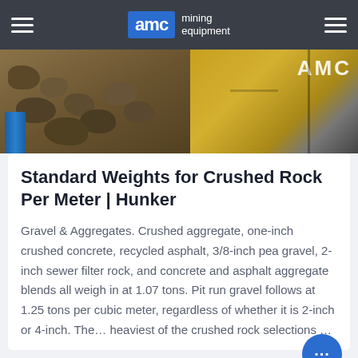AMC mining equipment
[Figure (photo): Mining equipment machinery with AMC branding on the right, rocky/gravel terrain on the left, blue barrel visible at lower left]
Standard Weights for Crushed Rock Per Meter | Hunker
Gravel & Aggregates. Crushed aggregate, one-inch crushed concrete, recycled asphalt, 3/8-inch pea gravel, 2-inch sewer filter rock, and concrete and asphalt aggregate blends all weigh in at 1.07 tons. Pit run gravel follows at 1.25 tons per cubic meter, regardless of whether it is 2-inch or 4-inch. The... heaviest of the crushed rock selections …
CONSULT